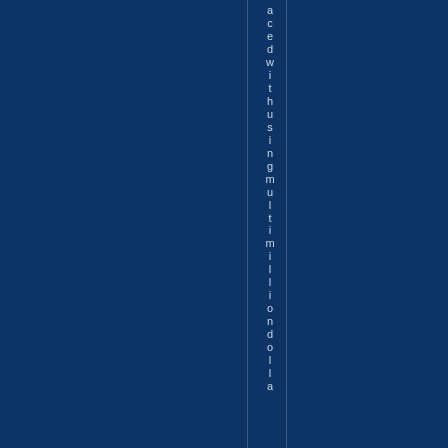aced with using multi million dolla